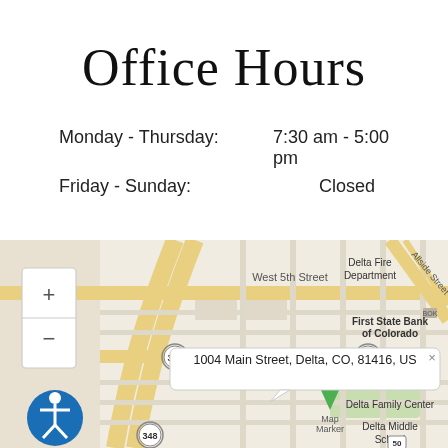Office Hours
Monday - Thursday:   7:30 am - 5:00 pm
Friday - Sunday:                Closed
[Figure (map): Street map showing location at 1004 Main Street, Delta, CO, 81416, US. Map shows West 5th Street, route 348, Delta Fire Department, First State Bank of Colorado, Taco Time, Delta Family Center, Delta Middle School, and a map marker popup with the address.]